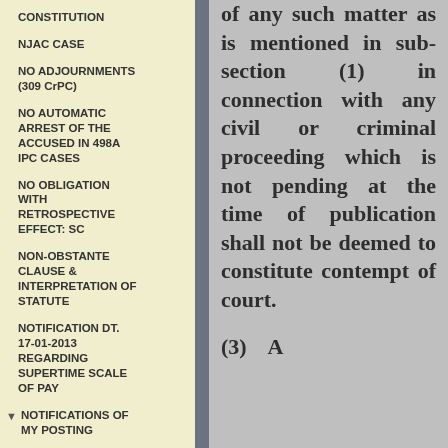CONSTITUTION
NJAC CASE
NO ADJOURNMENTS (309 CrPC)
NO AUTOMATIC ARREST OF THE ACCUSED IN 498A IPC CASES
NO OBLIGATION WITH RETROSPECTIVE EFFECT: SC
NON-OBSTANTE CLAUSE & INTERPRETATION OF STATUTE
NOTIFICATION DT. 17-01-2013 REGARDING SUPERTIME SCALE OF PAY
NOTIFICATIONS OF MY POSTING
NOTIFICATIONS REGARDING MY APPOINTMENT AS
of any such matter as is mentioned in sub-section (1) in connection with any civil or criminal proceeding which is not pending at the time of publication shall not be deemed to constitute contempt of court.
(3)    A